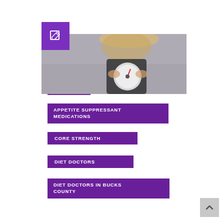[Figure (photo): Woman holding a weighing scale, smiling, with blonde hair, against a grey background]
ABS
APPETITE SUPPRESSANT MEDICATIONS
CORE STRENGTH
DIET DOCTORS
DIET DOCTORS IN BUCKS COUNTY